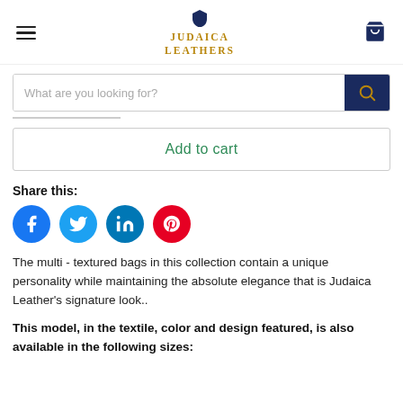Judaica Leathers
What are you looking for?
Add to cart
Share this:
[Figure (other): Social media share icons: Facebook (blue circle with f), Twitter (light blue circle with bird), LinkedIn (teal circle with in), Pinterest (red circle with P)]
The multi - textured bags in this collection contain a unique personality while maintaining the absolute elegance that is Judaica Leather's signature look..
This model, in the textile, color and design featured, is also available in the following sizes: